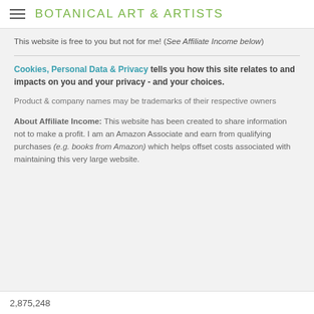BOTANICAL ART & ARTISTS
This website is free to you but not for me! (See Affiliate Income below)
Cookies, Personal Data & Privacy tells you how this site relates to and impacts on you and your privacy - and your choices.
Product & company names may be trademarks of their respective owners
About Affiliate Income: This website has been created to share information not to make a profit. I am an Amazon Associate and earn from qualifying purchases (e.g. books from Amazon) which helps offset costs associated with maintaining this very large website.
2,875,248